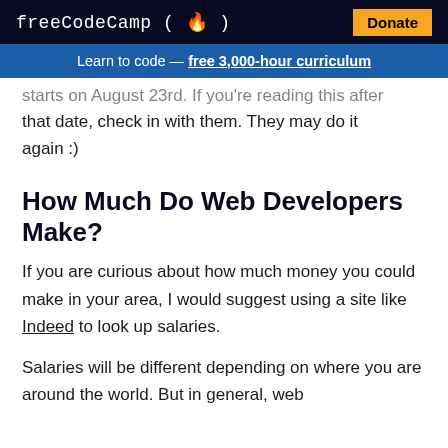freeCodeCamp (🔥)  Donate
Learn to code — free 3,000-hour curriculum
starts on August 23rd. If you're reading this after that date, check in with them. They may do it again :)
How Much Do Web Developers Make?
If you are curious about how much money you could make in your area, I would suggest using a site like Indeed to look up salaries.
Salaries will be different depending on where you are around the world. But in general, web developers continue to rise to prominence the…